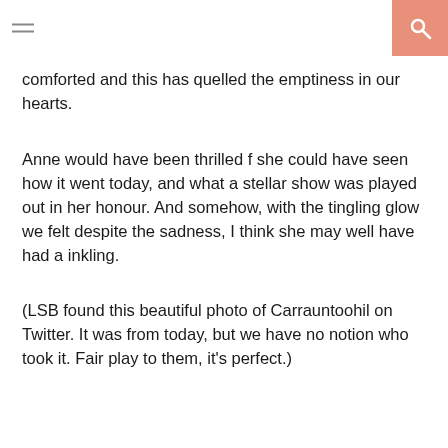comforted and this has quelled the emptiness in our hearts.
Anne would have been thrilled f she could have seen how it went today, and what a stellar show was played out in her honour. And somehow, with the tingling glow we felt despite the sadness, I think she may well have had a inkling.
(LSB found this beautiful photo of Carrauntoohil on Twitter. It was from today, but we have no notion who took it. Fair play to them, it's perfect.)